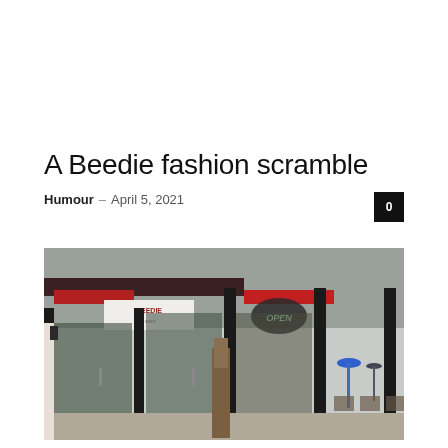A Beedie fashion scramble
Humour – April 5, 2021
[Figure (photo): Exterior storefront photograph showing a restaurant or cafe with large black-framed glass windows and doors, red awnings, a glowing OPEN sign, a tree trunk in the foreground, and a blue umbrella visible in an outdoor patio area on the right.]